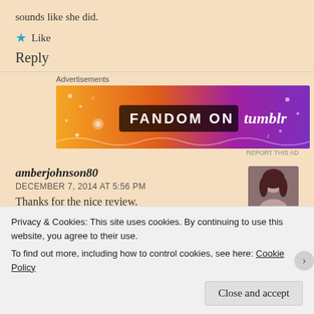sounds like she did.
★ Like
Reply
[Figure (other): Fandom on Tumblr advertisement banner with orange-to-purple gradient and doodle illustrations]
amberjohnson80
DECEMBER 7, 2014 AT 5:56 PM
Thanks for the nice review.
Privacy & Cookies: This site uses cookies. By continuing to use this website, you agree to their use.
To find out more, including how to control cookies, see here: Cookie Policy
Close and accept